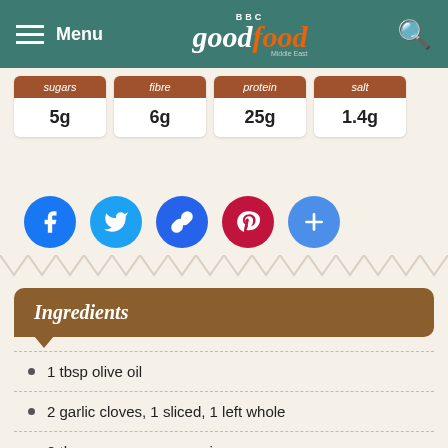BBC Good Food Middle East
| sugars | fibre | protein | salt |
| --- | --- | --- | --- |
| 5g | 6g | 25g | 1.4g |
[Figure (infographic): Social share buttons: Facebook, Twitter, Link/Copy, Pinterest, More]
Ingredients
1 tbsp olive oil
2 garlic cloves, 1 sliced, 1 left whole
2 thyme or rosemary sprigs